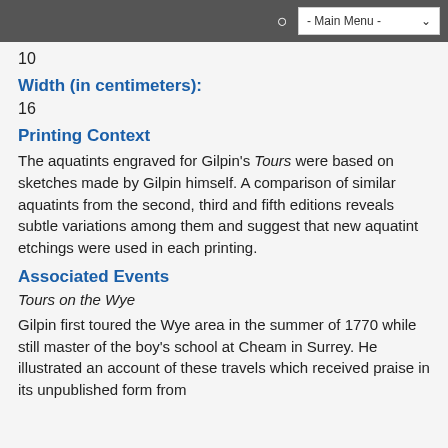- Main Menu -
10
Width (in centimeters):
16
Printing Context
The aquatints engraved for Gilpin's Tours were based on sketches made by Gilpin himself. A comparison of similar aquatints from the second, third and fifth editions reveals subtle variations among them and suggest that new aquatint etchings were used in each printing.
Associated Events
Tours on the Wye
Gilpin first toured the Wye area in the summer of 1770 while still master of the boy's school at Cheam in Surrey. He illustrated an account of these travels which received praise in its unpublished form from